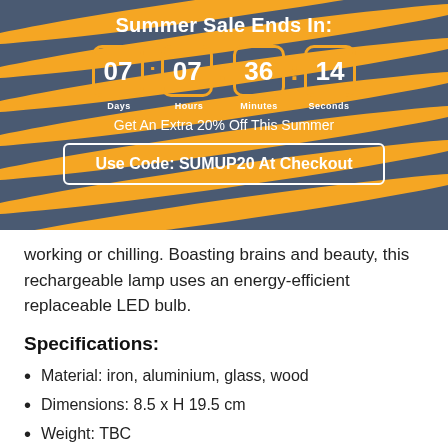[Figure (infographic): Summer sale countdown banner with dark blue/grey background and orange wave stripes. Shows countdown timer 07:07:36:14 with Days, Hours, Minutes, Seconds labels. Promo text 'Get An Extra 20% Off This Summer' and coupon code box 'Use Code: SUMUP20 At Checkout'.]
working or chilling. Boasting brains and beauty, this rechargeable lamp uses an energy-efficient replaceable LED bulb.
Specifications:
Material: iron, aluminium, glass, wood
Dimensions: 8.5 x H 19.5 cm
Weight: TBC
Colour: Black wood
Bulb included: ST64 Swirl